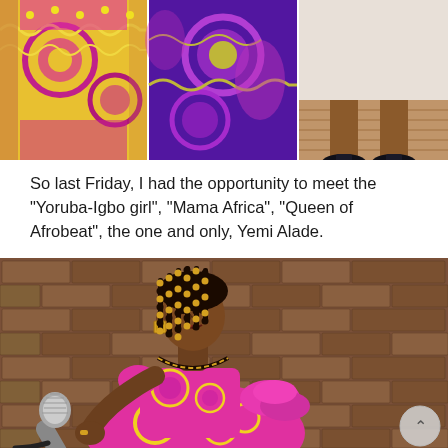[Figure (photo): Three-panel strip of close-up photos showing a woman wearing vibrant African print/Ankara fabric dress in pink, yellow and magenta colors with circular patterns]
So last Friday, I had the opportunity to meet the “Yoruba-Igbo girl”, “Mama Africa”, “Queen of Afrobeat”, the one and only, Yemi Alade.
[Figure (photo): Photo of Yemi Alade holding a microphone, wearing a pink and yellow African print dress with ruffles, beaded braids with gold and black beads, gold square earrings. Background is a brown brick wall.]